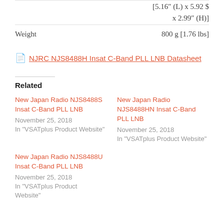|  | [5.16" (L) x 5.92  x 2.99" (H)] |
| Weight | 800 g [1.76 lbs] |
📄 NJRC NJS8488H Insat C-Band PLL LNB Datasheet
Related
New Japan Radio NJS8488S Insat C-Band PLL LNB
November 25, 2018
In "VSATplus Product Website"
New Japan Radio NJS8488HN Insat C-Band PLL LNB
November 25, 2018
In "VSATplus Product Website"
New Japan Radio NJS8488U Insat C-Band PLL LNB
November 25, 2018
In "VSATplus Product Website"